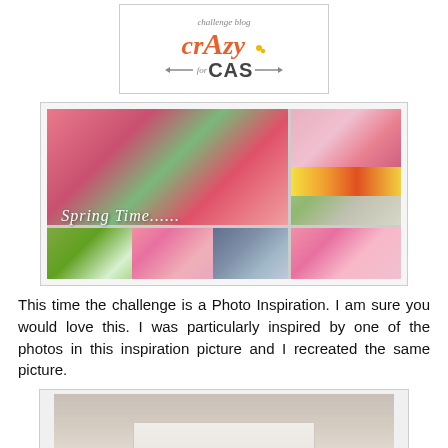[Figure (logo): Crazy for CAS challenge blog logo with orange script text and arrow]
[Figure (photo): Spring Time photo collage showing baby shoes with bow, cherry blossoms, decorative flowers, lambs, white rabbit, and pink flowers with text 'Spring Time......']
This time the challenge is a Photo Inspiration. I am sure you would love this. I was particularly inspired by one of the photos in this inspiration picture and I recreated the same picture.
[Figure (photo): Partial view of a handmade card or envelope on a grey background]